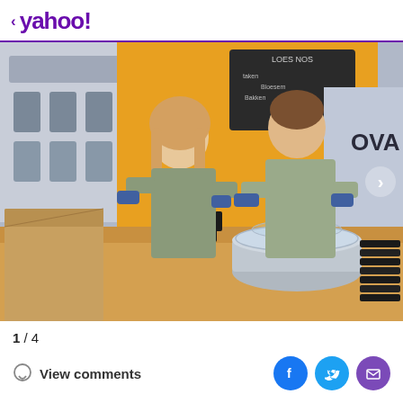< yahoo!
[Figure (photo): Two workers in olive/sage green uniforms and blue gloves working at a counter. A woman on the left is arranging small dark bottles, and a man on the right is handling a glass-lidded stainless steel mixing bowl. Behind them is an orange booth/stand with a chalkboard sign reading 'LOES NOS' and text about 'Bakken / Bloesem'. The background shows a city street with a building featuring arched windows and a store with 'OVA' visible. Various supplies and black lids are on the counter.]
1 / 4
View comments